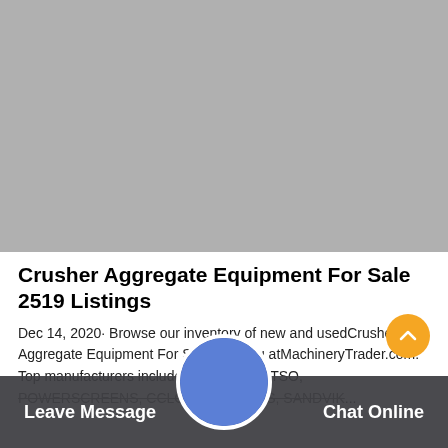[Figure (photo): Gray placeholder image occupying the top portion of the page]
Crusher Aggregate Equipment For Sale 2519 Listings
Dec 14, 2020· Browse our inventory of new and used Crusher Aggregate Equipment For Sale near you at MachineryTrader.com. Top manufacturers include K K, METSO, POWERSCREEN, CCLOSCO, EDARAPIDS, SANDVIK...